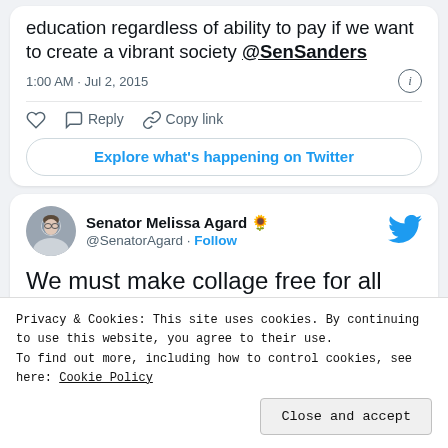education regardless of ability to pay if we want to create a vibrant society @SenSanders
1:00 AM · Jul 2, 2015
Explore what's happening on Twitter
Senator Melissa Agard 🌻 @SenatorAgard · Follow
We must make collage free for all kids who want to attend @SenSanders
Privacy & Cookies: This site uses cookies. By continuing to use this website, you agree to their use.
To find out more, including how to control cookies, see here: Cookie Policy